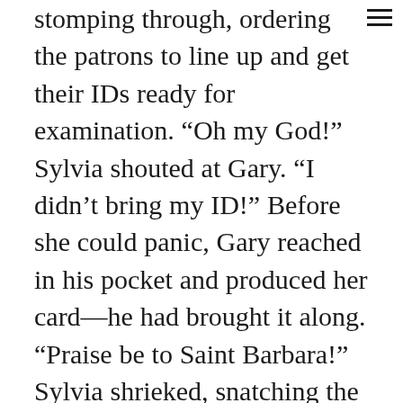stomping through, ordering the patrons to line up and get their IDs ready for examination. “Oh my God!” Sylvia shouted at Gary. “I didn’t bring my ID!” Before she could panic, Gary reached in his pocket and produced her card—he had brought it along. “Praise be to Saint Barbara!” Sylvia shrieked, snatching the precious ID. If the raid went according to the usual pattern, the only people arrested would be those without IDs, those dressed in the clothes of the opposite gender, and some or all of